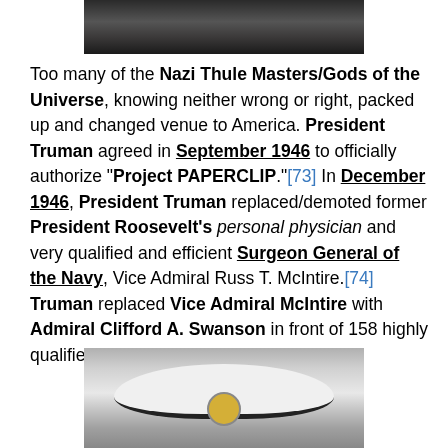[Figure (photo): Black and white photograph (top portion visible), partially cropped at top of page]
Too many of the Nazi Thule Masters/Gods of the Universe, knowing neither wrong or right, packed up and changed venue to America. President Truman agreed in September 1946 to officially authorize "Project PAPERCLIP."[73] In December 1946, President Truman replaced/demoted former President Roosevelt's personal physician and very qualified and efficient Surgeon General of the Navy, Vice Admiral Russ T. McIntire.[74] Truman replaced Vice Admiral McIntire with Admiral Clifford A. Swanson in front of 158 highly qualified senior officers.[75]
[Figure (photo): Black and white photograph showing a naval officer's cap with white top and dark band, visible from roughly chin level up, cropped at bottom of page]